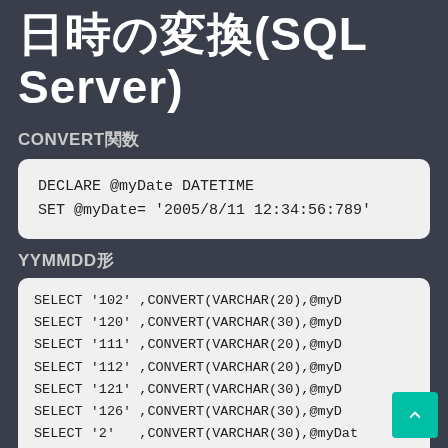日時の変換(SQL Server)
CONVERT関数
YYMMDD形